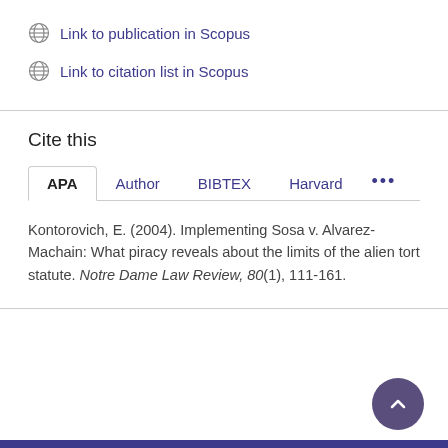Link to publication in Scopus
Link to citation list in Scopus
Cite this
APA | Author | BIBTEX | Harvard | ...
Kontorovich, E. (2004). Implementing Sosa v. Alvarez-Machain: What piracy reveals about the limits of the alien tort statute. Notre Dame Law Review, 80(1), 111-161.